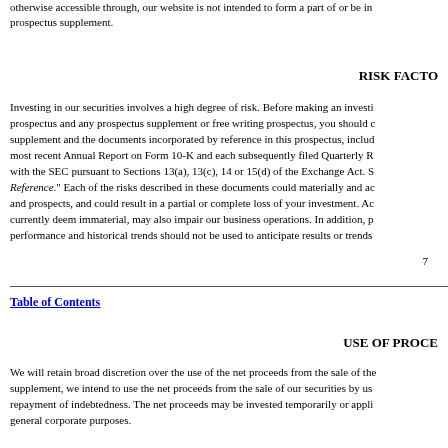otherwise accessible through, our website is not intended to form a part of or be incorporated into this prospectus supplement.
RISK FACTORS
Investing in our securities involves a high degree of risk. Before making an investment decision, in addition to reading this prospectus and any prospectus supplement or free writing prospectus, you should carefully consider the risks described in any prospectus supplement and the documents incorporated by reference in this prospectus, including but not limited to the risk factors in our most recent Annual Report on Form 10-K and each subsequently filed Quarterly Report on Form 10-Q, as updated by our filings with the SEC pursuant to Sections 13(a), 13(c), 14 or 15(d) of the Exchange Act. See "Incorporation of Certain Documents by Reference." Each of the risks described in these documents could materially and adversely affect our business, financial condition, results of operations and prospects, and could result in a partial or complete loss of your investment. Additional risks and uncertainties not currently known to us, or that we currently deem immaterial, may also impair our business operations. In addition, past performance of our securities is not a guarantee of future performance and historical trends should not be used to anticipate results or trends in future periods.
7
Table of Contents
USE OF PROCEEDS
We will retain broad discretion over the use of the net proceeds from the sale of the securities offered by this prospectus. Unless otherwise indicated in any prospectus supplement, we intend to use the net proceeds from the sale of our securities by us for general corporate purposes, which may include the repayment of indebtedness. The net proceeds may be invested temporarily or applied to repay short-term or revolving debt until they are used for general corporate purposes.